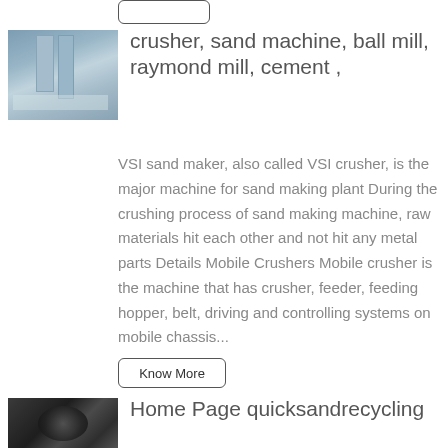crusher, sand machine, ball mill, raymond mill, cement ,
VSI sand maker, also called VSI crusher, is the major machine for sand making plant During the crushing process of sand making machine, raw materials hit each other and not hit any metal parts Details Mobile Crushers Mobile crusher is the machine that has crusher, feeder, feeding hopper, belt, driving and controlling systems on mobile chassis...
Know More
Home Page quicksandrecycling